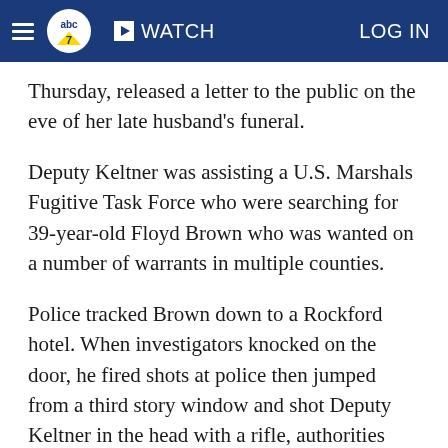abc7 WATCH LOG IN
Thursday, released a letter to the public on the eve of her late husband's funeral.
Deputy Keltner was assisting a U.S. Marshals Fugitive Task Force who were searching for 39-year-old Floyd Brown who was wanted on a number of warrants in multiple counties.
Police tracked Brown down to a Rockford hotel. When investigators knocked on the door, he fired shots at police then jumped from a third story window and shot Deputy Keltner in the head with a rifle, authorities said. Keltner was rushed to a local hospital where he was pronounced dead.